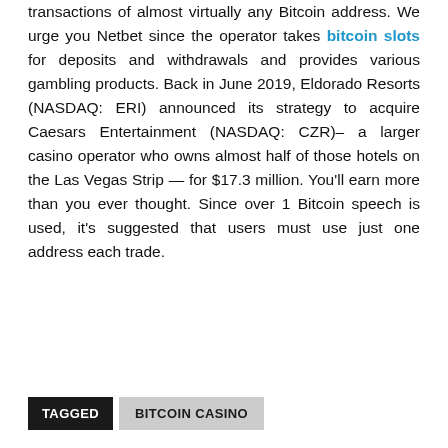transactions of almost virtually any Bitcoin address. We urge you Netbet since the operator takes bitcoin slots for deposits and withdrawals and provides various gambling products. Back in June 2019, Eldorado Resorts (NASDAQ: ERI) announced its strategy to acquire Caesars Entertainment (NASDAQ: CZR)– a larger casino operator who owns almost half of those hotels on the Las Vegas Strip — for $17.3 million. You'll earn more than you ever thought. Since over 1 Bitcoin speech is used, it's suggested that users must use just one address each trade.
TAGGED  BITCOIN CASINO